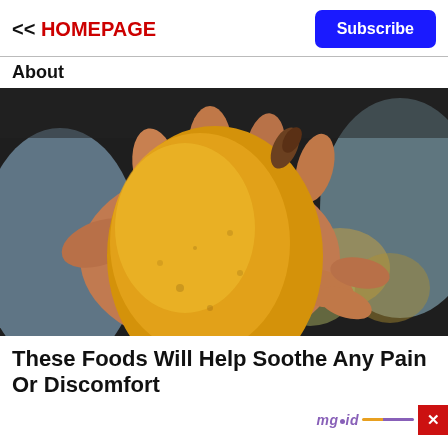<< HOMEPAGE
Subscribe
About
[Figure (photo): A hand holding a large yellow-orange mango fruit, with more mangoes and a bowl visible in the blurred background.]
These Foods Will Help Soothe Any Pain Or Discomfort
mgid ×